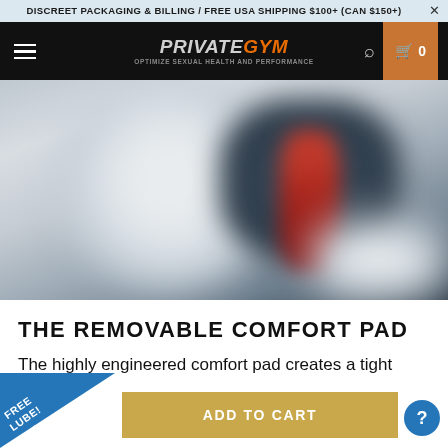DISCREET PACKAGING & BILLING / FREE USA SHIPPING $100+ (CAN $150+)
[Figure (screenshot): Private Gym website navigation bar with hamburger menu, logo reading PRIVATE GYM with tagline OPTIMIZE SEXUAL HEALTH AND PERFORMANCE, search icon, and cart button showing 0 items]
[Figure (photo): Blurred close-up product photo showing white, dark navy, and red components of a fitness device]
THE REMOVABLE COMFORT PAD
The highly engineered comfort pad creates a tight
FREE LUBE!
ADD TO CART